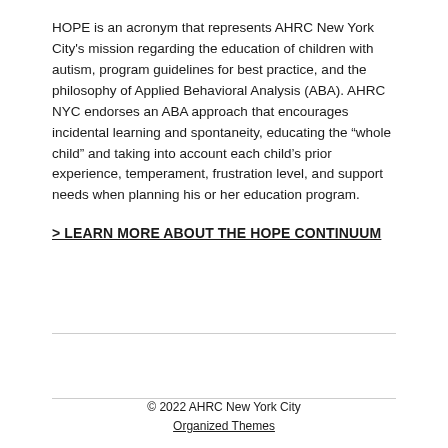HOPE is an acronym that represents AHRC New York City's mission regarding the education of children with autism, program guidelines for best practice, and the philosophy of Applied Behavioral Analysis (ABA). AHRC NYC endorses an ABA approach that encourages incidental learning and spontaneity, educating the “whole child” and taking into account each child’s prior experience, temperament, frustration level, and support needs when planning his or her education program.
> LEARN MORE ABOUT THE HOPE CONTINUUM
© 2022 AHRC New York City
Organized Themes